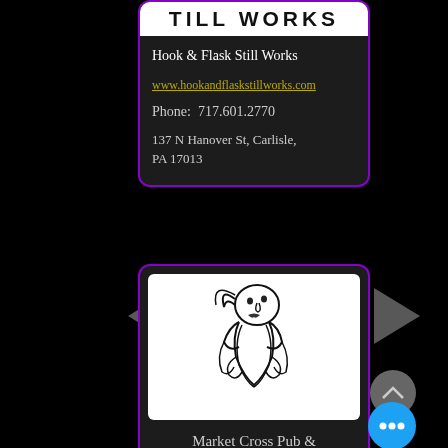TILL WORKS
Hook & Flask Still Works
www.hookandflaskstillworks.com
Phone:  717.601.2770
137 N Hanover St, Carlisle, PA 17013
[Figure (logo): Market Cross Pub & Brewery logo — bearded man illustration in black and white]
Market Cross Pub & Brewery